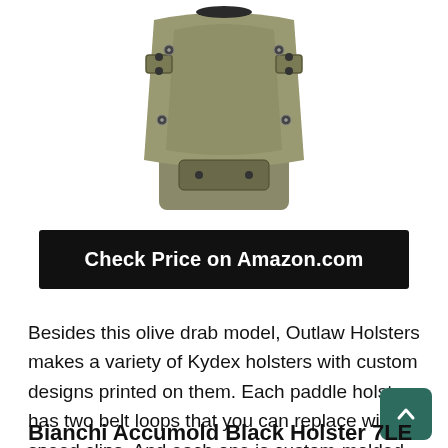[Figure (photo): Olive drab Kydex OWB paddle holster viewed from back, showing two belt loops/paddle attachment with screws, against white background.]
Check Price on Amazon.com
Besides this olive drab model, Outlaw Holsters makes a variety of Kydex holsters with custom designs printed on them. Each paddle holster has two belt loops that you can replace with speed clips. And each one is custom-molded to the gun. They come with a one-year replacement warranty.
Bianchi Accumold Black Holster 7LE